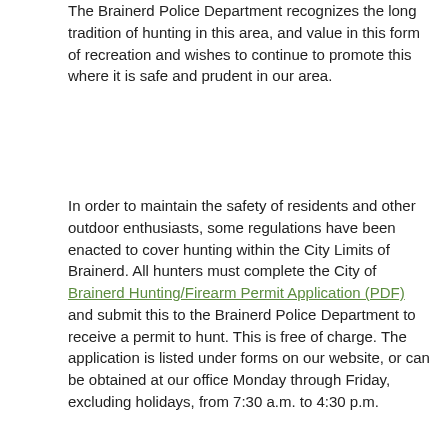The Brainerd Police Department recognizes the long tradition of hunting in this area, and value in this form of recreation and wishes to continue to promote this where it is safe and prudent in our area.
In order to maintain the safety of residents and other outdoor enthusiasts, some regulations have been enacted to cover hunting within the City Limits of Brainerd. All hunters must complete the City of Brainerd Hunting/Firearm Permit Application (PDF) and submit this to the Brainerd Police Department to receive a permit to hunt. This is free of charge. The application is listed under forms on our website, or can be obtained at our office Monday through Friday, excluding holidays, from 7:30 a.m. to 4:30 p.m.
This application is separate and in addition to any other permits to acquire, permits to carry, and other hunting license that may be required. Permits to discharge a firearm within the city limits will only be issued for private property 5 acres or more, and with the land owner's written permission, if the applicant does not own the property.
Permits will also be required for archery hunting within the